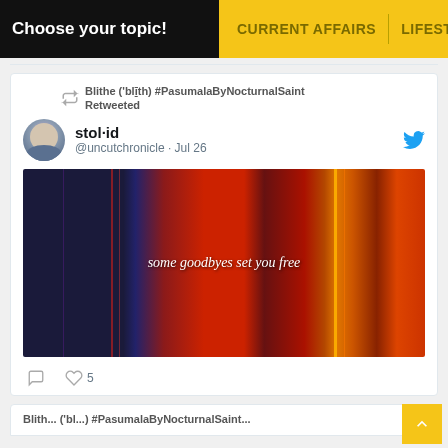Choose your topic! | CURRENT AFFAIRS | LIFESTYLE
Blithe ('blīth) #PasumalaByNocturnalSaint Retweeted
stol·id @uncutchronicle · Jul 26
[Figure (photo): Dark image with blue and red color bands, text overlay reading 'some goodbyes set you free']
5 likes
Blith... ('bl...) #PasumalaByNocturnalSaint...